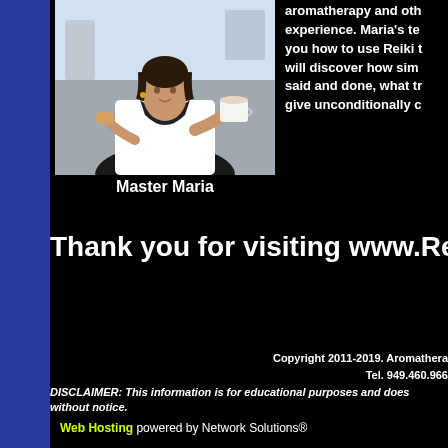[Figure (photo): Photo of Master Maria, a woman in white shirt holding a coffee cup and pastry, seated outdoors]
Master Maria
aromatherapy and other experience. Maria's teaching you how to use Reiki will discover how simple said and done, what truly give unconditionally
Thank you for visiting www.ReikiThe
Copyright 2011-2019. Aromathera Tel. 949.460.966
DISCLAIMER: This information is for educational purposes and does without notice.
Web Hosting powered by Network Solutions®